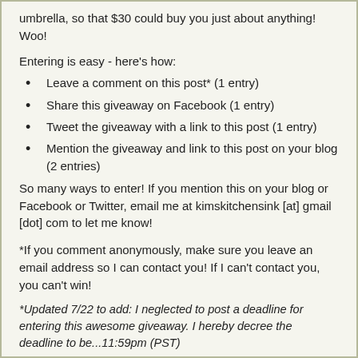umbrella, so that $30 could buy you just about anything!  Woo!
Entering is easy - here's how:
Leave a comment on this post* (1 entry)
Share this giveaway on Facebook (1 entry)
Tweet the giveaway with a link to this post (1 entry)
Mention the giveaway and link to this post on your blog (2 entries)
So many ways to enter!  If you mention this on your blog or Facebook or Twitter, email me at kimskitchensink [at] gmail [dot] com to let me know!
*If you comment anonymously, make sure you leave an email address so I can contact you! If I can't contact you, you can't win!
*Updated 7/22 to add: I neglected to post a deadline for entering this awesome giveaway.  I hereby decree the deadline to be...11:59pm (PST)